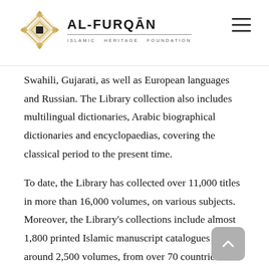AL-FURQĀN ISLAMIC HERITAGE FOUNDATION
Swahili, Gujarati, as well as European languages and Russian. The Library collection also includes multilingual dictionaries, Arabic biographical dictionaries and encyclopaedias, covering the classical period to the present time.
To date, the Library has collected over 11,000 titles in more than 16,000 volumes, on various subjects. Moreover, the Library's collections include almost 1,800 printed Islamic manuscript catalogues in around 2,500 volumes, from over 70 countries.
The library's holdings are arranged and organised according to the Library of Congress Classification (LCC)